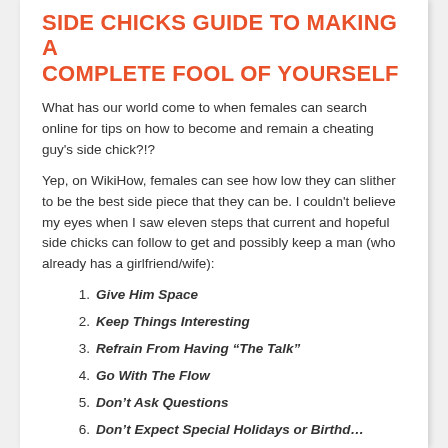SIDE CHICKS GUIDE TO MAKING A COMPLETE FOOL OF YOURSELF
What has our world come to when females can search online for tips on how to become and remain a cheating guy's side chick?!?
Yep, on WikiHow, females can see how low they can slither to be the best side piece that they can be. I couldn't believe my eyes when I saw eleven steps that current and hopeful side chicks can follow to get and possibly keep a man (who already has a girlfriend/wife):
Give Him Space
Keep Things Interesting
Refrain From Having “The Talk”
Go With The Flow
Don’t Ask Questions
Don’t Expect Special Holidays or Birthdays